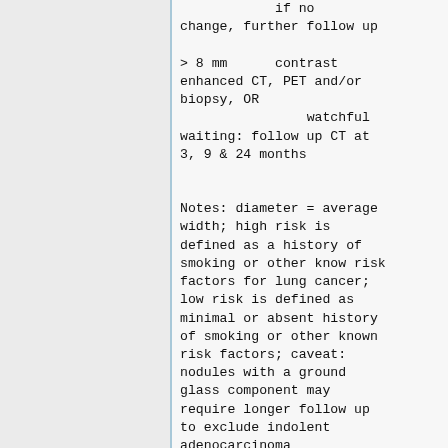if no change, further follow up

> 8 mm      contrast enhanced CT, PET and/or biopsy, OR
                watchful waiting: follow up CT at 3, 9 & 24 months
Notes: diameter = average width; high risk is defined as a history of smoking or other know risk factors for lung cancer; low risk is defined as minimal or absent history of smoking or other known risk factors; caveat: nodules with a ground glass component may require longer follow up to exclude indolent adenocarcinoma